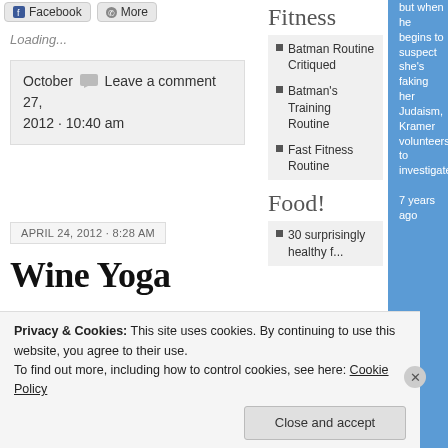Facebook | More
Loading...
October [comment icon] Leave a comment
27,
2012 · 10:40 am
APRIL 24, 2012 · 8:28 AM
Wine Yoga
Fitness
Batman Routine Critiqued
Batman's Training Routine
Fast Fitness Routine
Food!
30 surprisingly healthy f...
but when he begins to suspect she's faking her Judaism, Kramer volunteers to investigate.
7 years ago
Privacy & Cookies: This site uses cookies. By continuing to use this website, you agree to their use.
To find out more, including how to control cookies, see here: Cookie Policy
Close and accept